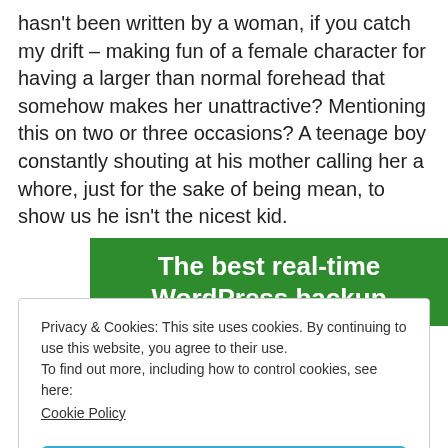hasn't been written by a woman, if you catch my drift – making fun of a female character for having a larger than normal forehead that somehow makes her unattractive? Mentioning this on two or three occasions? A teenage boy constantly shouting at his mother calling her a whore, just for the sake of being mean, to show us he isn't the nicest kid.
[Figure (other): Green advertisement banner with white bold text reading 'The best real-time WordPress backup']
Privacy & Cookies: This site uses cookies. By continuing to use this website, you agree to their use.
To find out more, including how to control cookies, see here:
Cookie Policy
Close and accept